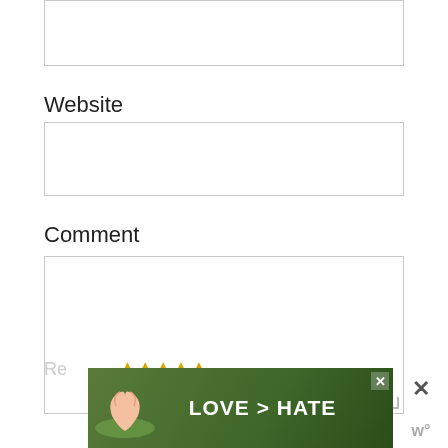[Figure (screenshot): Top portion of a web comment form showing a text input field (partially visible at top), a Website label with empty input box, a Comment label with large empty textarea, and at the bottom a partially visible row with 'Re...' text and star rating icons. An advertisement banner overlay at bottom shows 'LOVE > HATE' text on a green background with hands forming a heart shape.]